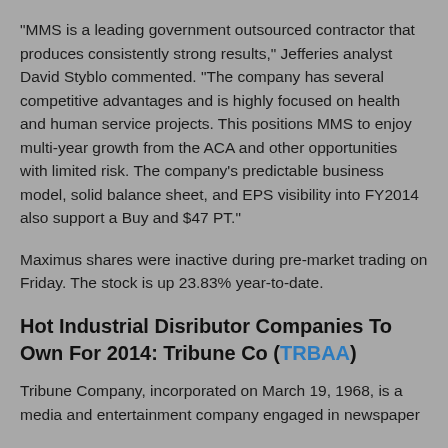“MMS is a leading government outsourced contractor that produces consistently strong results,” Jefferies analyst David Styblo commented. “The company has several competitive advantages and is highly focused on health and human service projects. This positions MMS to enjoy multi-year growth from the ACA and other opportunities with limited risk. The company’s predictable business model, solid balance sheet, and EPS visibility into FY2014 also support a Buy and $47 PT.”
Maximus shares were inactive during pre-market trading on Friday. The stock is up 23.83% year-to-date.
Hot Industrial Disributor Companies To Own For 2014: Tribune Co (TRBAA)
Tribune Company, incorporated on March 19, 1968, is a media and entertainment company engaged in newspaper